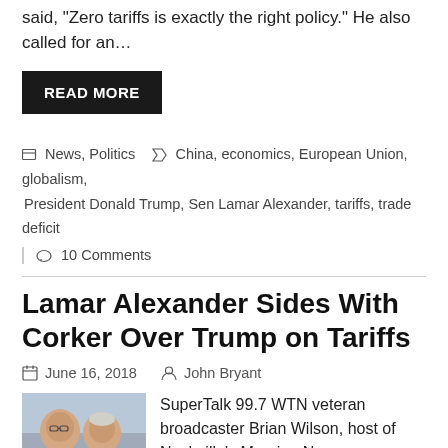said, "Zero tariffs is exactly the right policy." He also called for an…
READ MORE
News, Politics   China, economics, European Union, globalism, President Donald Trump, Sen Lamar Alexander, tariffs, trade deficit
10 Comments
Lamar Alexander Sides With Corker Over Trump on Tariffs
June 16, 2018   John Bryant
[Figure (photo): Two men photographed together, one older bald man in glasses and one with white hair, outdoors in front of a building.]
SuperTalk 99.7 WTN veteran broadcaster Brian Wilson, host of Nashville's Morning News, interviewed Tennessee Senator Lamar Alexander today, who made it very clear he sides with outgoing Senator Bob Corker over President Trump on the tariff issue. The two men also discussed the recent Inspector General's report, which provided them with a...